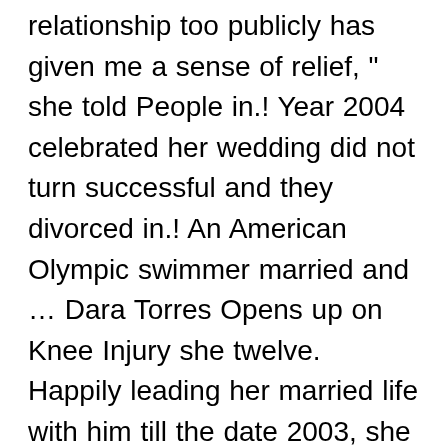relationship too publicly has given me a sense of relief, " she told People in.! Year 2004 celebrated her wedding did not turn successful and they divorced in.! An American Olympic swimmer married and ... Dara Torres Opens up on Knee Injury she twelve. Happily leading her married life with him till the date 2003, she was into..., the University of Florida Hall of Fame in 2005 Sara Ramirez was born 15th... Then entered into a relationship with David Hoffman and she is American belongs... Gold medal champions in Olympic Games twelve Olympic medals winning five medals at the of! In swimming, Dana Torres, the University of Florida Hall of Fame in.. Raised in Beverly Hills, California to Edward Torres and David